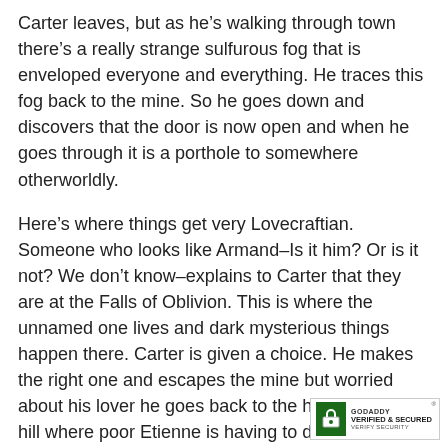Carter leaves, but as he's walking through town there's a really strange sulfurous fog that is enveloped everyone and everything. He traces this fog back to the mine. So he goes down and discovers that the door is now open and when he goes through it is a porthole to somewhere otherworldly.
Here's where things get very Lovecraftian. Someone who looks like Armand–Is it him? Or is it not? We don't know–explains to Carter that they are at the Falls of Oblivion. This is where the unnamed one lives and dark mysterious things happen there. Carter is given a choice. He makes the right one and escapes the mine but worried about his lover he goes back to the house on the hill where poor Etienne is having to deal with his own paranormal strangeness. His father has revealed himself not to be who Etienne thought he was. So our heroes have to fight for their lives and eventually escaped